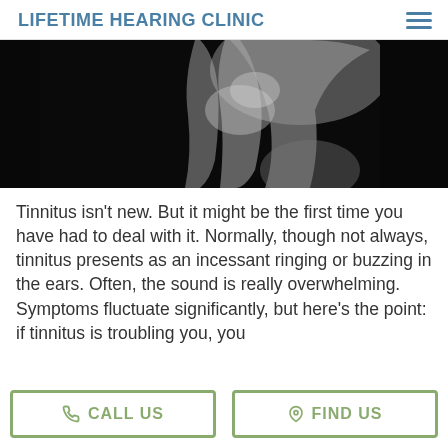LIFETIME HEARING CLINIC
[Figure (photo): Black and white photo of a man with his hand raised near his ear, suggesting hearing difficulty or tinnitus]
Tinnitus isn't new. But it might be the first time you have had to deal with it. Normally, though not always, tinnitus presents as an incessant ringing or buzzing in the ears. Often, the sound is really overwhelming. Symptoms fluctuate significantly, but here's the point: if tinnitus is troubling you, you
CALL US
FIND US